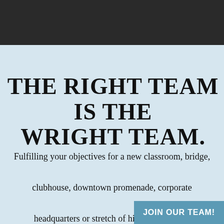[Figure (other): Dark background header bar]
THE RIGHT TEAM IS THE WRIGHT TEAM.
Fulfilling your objectives for a new classroom, bridge, clubhouse, downtown promenade, corporate headquarters or stretch of highway requires experience and expertise across a
JOIN OUR TEAM!